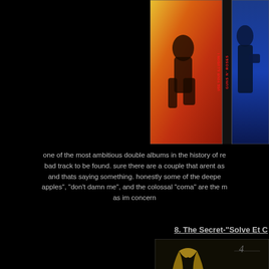[Figure (photo): Guns N' Roses Use Your Illusion I and II album covers side by side on black background]
one of the most ambitious double albums in the history of r... bad track to be found. sure there are a couple that arent as... and thats saying something. honestly some of the deepe... apples", "don't damn me", and the colossal "coma" are the m... as im concern...
8. The Secret-"Solve Et C...
[Figure (photo): The Secret album cover with gold/dark art and number 4 visible]